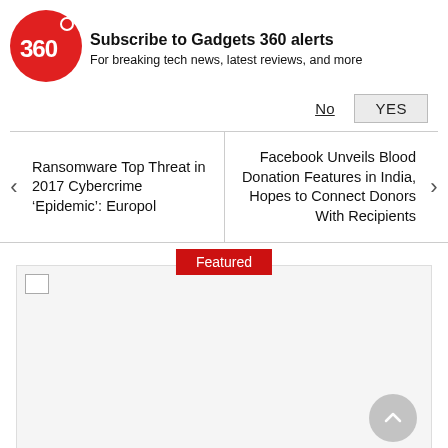[Figure (logo): Gadgets 360 red circular logo with '360' text]
Subscribe to Gadgets 360 alerts
For breaking tech news, latest reviews, and more
No   YES
Ransomware Top Threat in 2017 Cybercrime 'Epidemic': Europol
Facebook Unveils Blood Donation Features in India, Hopes to Connect Donors With Recipients
Featured
[Figure (photo): Featured image placeholder (broken image icon visible)]